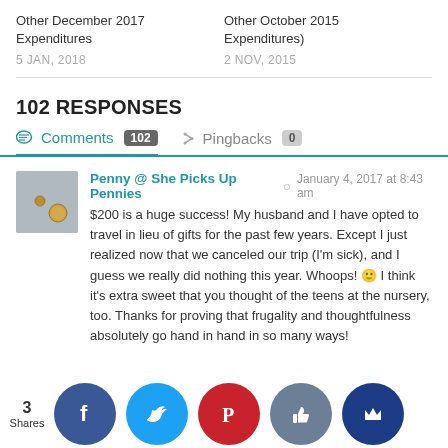Other December 2017 Expenditures
Other October 2015 Expenditures)
5 JAN, 2018
2 NOV, 2015
102 RESPONSES
Comments 102   Pingbacks 0
Penny @ She Picks Up Pennies  January 4, 2017 at 8:43 am
$200 is a huge success! My husband and I have opted to travel in lieu of gifts for the past few years. Except I just realized now that we canceled our trip (I'm sick), and I guess we really did nothing this year. Whoops! 🙂 I think it's extra sweet that you thought of the teens at the nursery, too. Thanks for proving that frugality and thoughtfulness absolutely go hand in hand in so many ways!
3 Shares